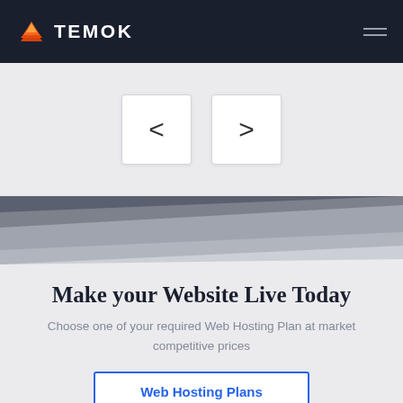TEMOK
[Figure (illustration): Two navigation arrow buttons (< and >) on a light gray background, used as a slider/carousel control]
[Figure (illustration): Diagonal layered geometric shapes in dark gray, medium gray, and light gray tones creating a decorative banner strip]
Make your Website Live Today
Choose one of your required Web Hosting Plan at market competitive prices
Web Hosting Plans